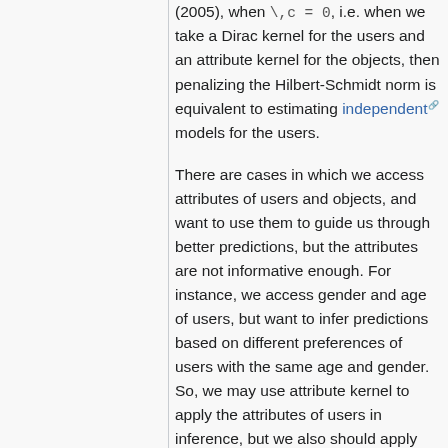(2005), when \,c = 0, i.e. when we take a Dirac kernel for the users and an attribute kernel for the objects, then penalizing the Hilbert-Schmidt norm is equivalent to estimating independent models for the users.
There are cases in which we access attributes of users and objects, and want to use them to guide us through better predictions, but the attributes are not informative enough. For instance, we access gender and age of users, but want to infer predictions based on different preferences of users with the same age and gender. So, we may use attribute kernel to apply the attributes of users in inference, but we also should apply Dirac kernel to perform inference for the different users with same attributes. The authors use the following